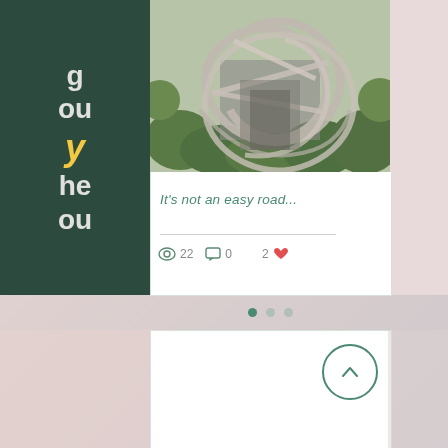[Figure (photo): Aerial view of complex highway interchange with multiple looping elevated roads surrounded by green trees]
It's not an easy road...
22 views, 0 comments, 2 likes
[Figure (other): Pagination dots: 3 dots, first one active (dark green), two inactive (gray)]
[Figure (other): Back to top button: circle with upward chevron arrow in teal/green color]